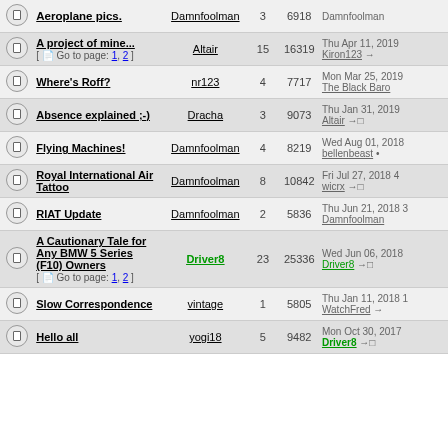|  | Topic | Author | Replies | Views | Last Post |
| --- | --- | --- | --- | --- | --- |
|  | Aeroplane pics. | Damnfoolman | 3 | 6918 | Damnfoolman |
|  | A project of mine... [Go to page: 1, 2] | Altair | 15 | 16319 | Thu Apr 11, 2019 Kiron123 |
|  | Where's Roff? | nr123 | 4 | 7717 | Mon Mar 25, 2019 The Black Baro |
|  | Absence explained ;-) | Dracha | 3 | 9073 | Thu Jan 31, 2019 Altair |
|  | Flying Machines! | Damnfoolman | 4 | 8219 | Wed Aug 01, 2018 bellenbeast |
|  | Royal International Air Tattoo | Damnfoolman | 8 | 10842 | Fri Jul 27, 2018 4 wicrx |
|  | RIAT Update | Damnfoolman | 2 | 5836 | Thu Jun 21, 2018 Damnfoolman |
|  | A Cautionary Tale for Any BMW 5 Series (F10) Owners [Go to page: 1, 2] | Driver8 | 23 | 25336 | Wed Jun 06, 2018 Driver8 |
|  | Slow Correspondence | vintage | 1 | 5805 | Thu Jan 11, 2018 WatchFred |
|  | Hello all | yogi18 | 5 | 9482 | Mon Oct 30, 2017 Driver8 |